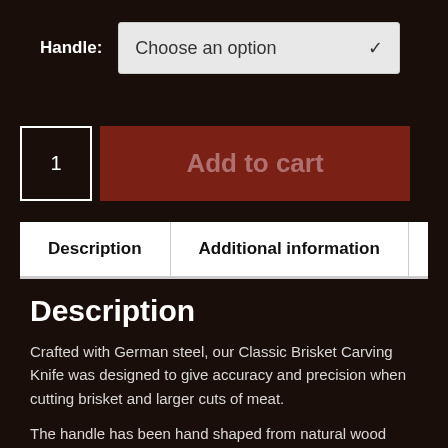Handle: Choose an option
1
Add to cart
Description | Additional information
Description
Crafted with German steel, our Classic Brisket Carving Knife was designed to give accuracy and precision when cutting brisket and larger cuts of meat.
The handle has been hand shaped from natural wood